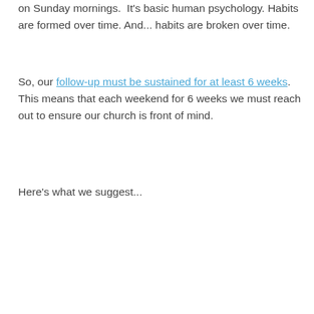on Sunday mornings.  It's basic human psychology. Habits are formed over time. And... habits are broken over time.
So, our follow-up must be sustained for at least 6 weeks.  This means that each weekend for 6 weeks we must reach out to ensure our church is front of mind.
Here's what we suggest...